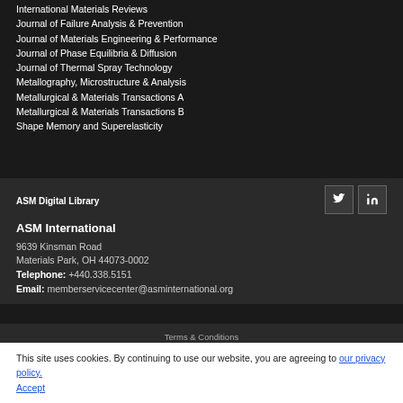International Materials Reviews
Journal of Failure Analysis & Prevention
Journal of Materials Engineering & Performance
Journal of Phase Equilibria & Diffusion
Journal of Thermal Spray Technology
Metallography, Microstructure & Analysis
Metallurgical & Materials Transactions A
Metallurgical & Materials Transactions B
Shape Memory and Superelasticity
[Figure (logo): ASM Digital Library logo text]
ASM International
9639 Kinsman Road
Materials Park, OH 44073-0002
Telephone: +440.338.5151
Email: memberservicecenter@asminternational.org
This site uses cookies. By continuing to use our website, you are agreeing to our privacy policy. Accept
Terms & Conditions | ©Copyright 2019 ASM International